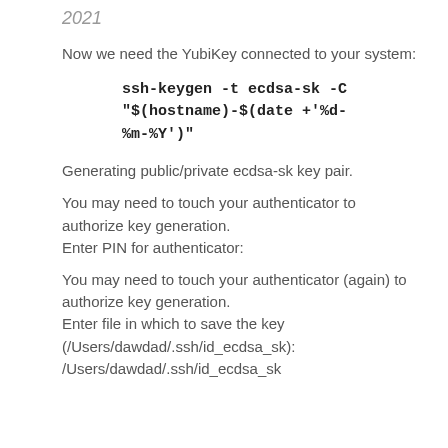2021
Now we need the YubiKey connected to your system:
Generating public/private ecdsa-sk key pair.
You may need to touch your authenticator to authorize key generation.
Enter PIN for authenticator:
You may need to touch your authenticator (again) to authorize key generation.
Enter file in which to save the key (/Users/dawdad/.ssh/id_ecdsa_sk):
/Users/dawdad/.ssh/id_ecdsa_sk